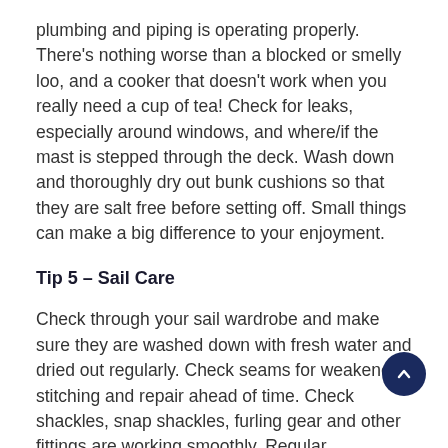plumbing and piping is operating properly. There's nothing worse than a blocked or smelly loo, and a cooker that doesn't work when you really need a cup of tea! Check for leaks, especially around windows, and where/if the mast is stepped through the deck. Wash down and thoroughly dry out bunk cushions so that they are salt free before setting off. Small things can make a big difference to your enjoyment.
Tip 5 – Sail Care
Check through your sail wardrobe and make sure they are washed down with fresh water and dried out regularly. Check seams for weakened stitching and repair ahead of time. Check shackles, snap shackles, furling gear and other fittings are working smoothly. Regular maintenance will extend the life of your sails. Sails are your 'engine' and so looking after them properly pays big dividends.